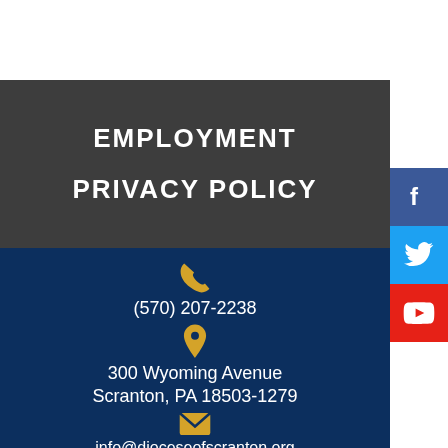EMPLOYMENT
PRIVACY POLICY
(570) 207-2238
300 Wyoming Avenue
Scranton, PA 18503-1279
info@dioceseofscranton.org
[Figure (infographic): Social media sidebar with Facebook, Twitter, and YouTube icons]